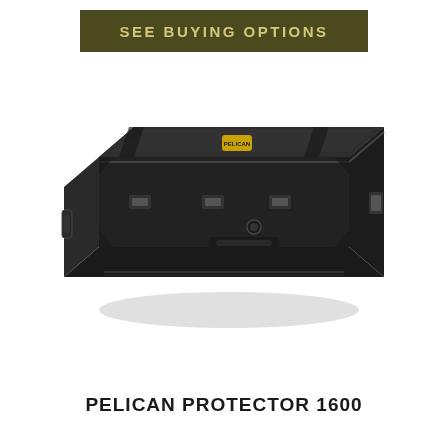SEE BUYING OPTIONS
[Figure (photo): Black Pelican Protector 1600 hard case, a rugged rectangular carry case with latches, handles, and a pressure relief valve, shown in a 3/4 perspective view against a white background.]
PELICAN PROTECTOR 1600